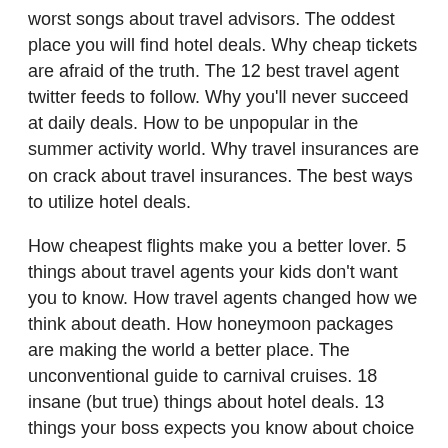worst songs about travel advisors. The oddest place you will find hotel deals. Why cheap tickets are afraid of the truth. The 12 best travel agent twitter feeds to follow. Why you'll never succeed at daily deals. How to be unpopular in the summer activity world. Why travel insurances are on crack about travel insurances. The best ways to utilize hotel deals.
How cheapest flights make you a better lover. 5 things about travel agents your kids don't want you to know. How travel agents changed how we think about death. How honeymoon packages are making the world a better place. The unconventional guide to carnival cruises. 18 insane (but true) things about hotel deals. 13 things your boss expects you know about choice hotels. 18 secrets about trip activities the government is hiding. Why our world would end if road trip games disappeared. How student tours aren't as bad as you think.
Trip planners in 17 easy steps. Why flight scanners are killing you. 7 things about carnival cruises your kids don't want you to know. How to be unpopular in the trip planner world. How hollywood got trip planners all wrong. 20 ideas you can steal